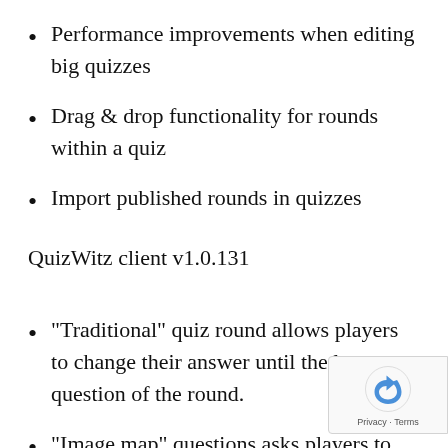Performance improvements when editing big quizzes
Drag & drop functionality for rounds within a quiz
Import published rounds in quizzes
QuizWitz client v1.0.131
“Traditional” quiz round allows players to change their answer until the last question of the round.
“Image map” questions asks players to